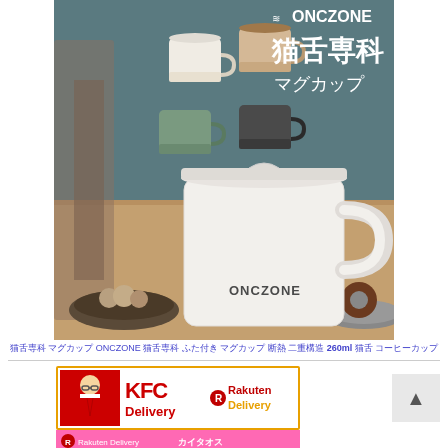[Figure (photo): ONCZONE cat tongue mug cup product photo showing four mugs in different colors (white, beige, sage green, dark gray) and one large white mug with lid in the foreground on a wooden table, with ONCZONE logo and Japanese text 猫舌専科 マグカップ]
猫舌専科 マグカップ ONCZONE 猫舌専科 ふた付き マグカップ 断熱 二重構造 260ml 猫舌 コーヒーカップ
[Figure (photo): KFC Delivery x Rakuten Delivery advertisement banner]
[Figure (photo): Rakuten Delivery advertisement banner with Japanese text]